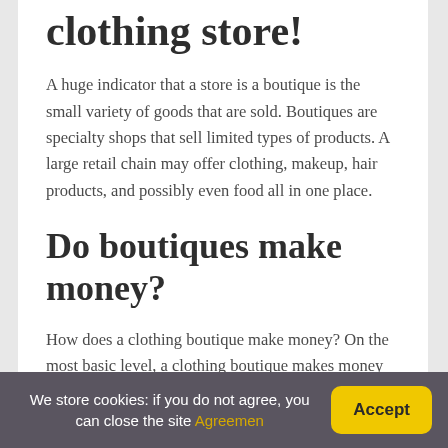clothing store!
A huge indicator that a store is a boutique is the small variety of goods that are sold. Boutiques are specialty shops that sell limited types of products. A large retail chain may offer clothing, makeup, hair products, and possibly even food all in one place.
Do boutiques make money?
How does a clothing boutique make money? On the most basic level, a clothing boutique makes money by selling clothing and other goods. This involves buying clothes as cheaply as possible and then reselling them at a certain amount…
We store cookies: if you do not agree, you can close the site Agreemen | Accept